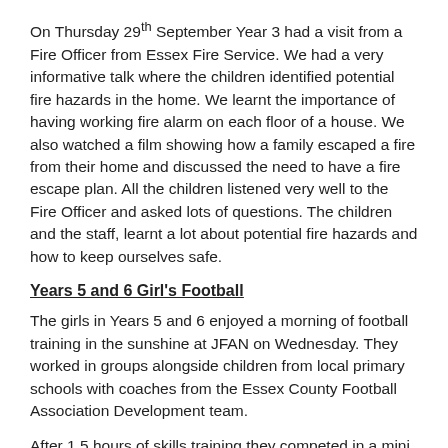On Thursday 29th September Year 3 had a visit from a Fire Officer from Essex Fire Service. We had a very informative talk where the children identified potential fire hazards in the home. We learnt the importance of having working fire alarm on each floor of a house. We also watched a film showing how a family escaped a fire from their home and discussed the need to have a fire escape plan. All the children listened very well to the Fire Officer and asked lots of questions. The children and the staff, learnt a lot about potential fire hazards and how to keep ourselves safe.
Years 5 and 6 Girl's Football
The girls in Years 5 and 6 enjoyed a morning of football training in the sunshine at JFAN on Wednesday. They worked in groups alongside children from local primary schools with coaches from the Essex County Football Association Development team.
After 1.5 hours of skills training they competed in a mini tournament and are now looking forward to sending a team to the girls football tournament at Herberts Farm next Wednesday.